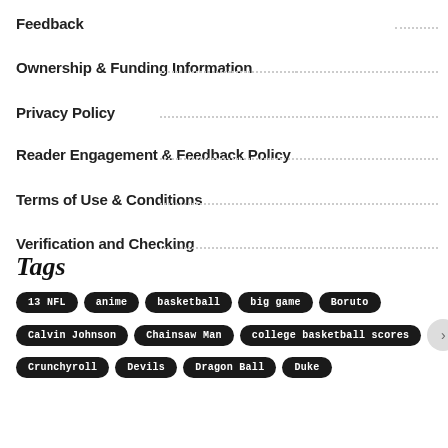Feedback
Ownership & Funding Information
Privacy Policy
Reader Engagement & Feedback Policy
Terms of Use & Conditions
Verification and Checking
Tags
13 NFL, anime, basketball, big game, Boruto, Calvin Johnson, Chainsaw Man, college basketball scores, Crunchyroll, Devils, Dragon Ball, Duke